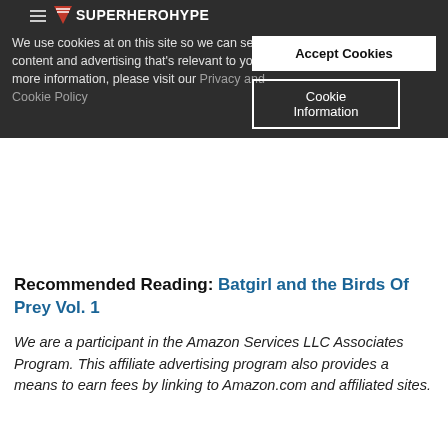SuperHeroHype
We use cookies at on this site so we can serve up content and advertising that's relevant to you. For more information, please visit our Privacy and Cookie Policy
Accept Cookies
Cookie Information
Recommended Reading: Batgirl and the Birds Of Prey Vol. 1
We are a participant in the Amazon Services LLC Associates Program. This affiliate advertising program also provides a means to earn fees by linking to Amazon.com and affiliated sites.